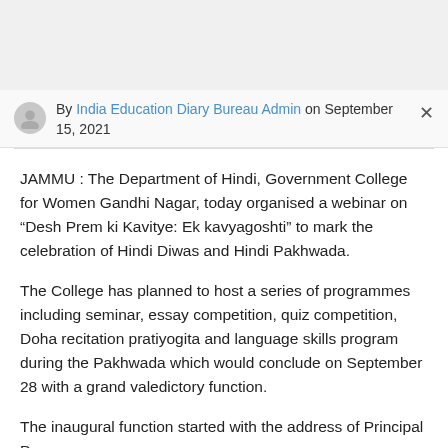By India Education Diary Bureau Admin on September 15, 2021
JAMMU : The Department of Hindi, Government College for Women Gandhi Nagar, today organised a webinar on “Desh Prem ki Kavitye: Ek kavyagoshti” to mark the celebration of Hindi Diwas and Hindi Pakhwada.
The College has planned to host a series of programmes including seminar, essay competition, quiz competition, Doha recitation pratiyogita and language skills program during the Pakhwada which would conclude on September 28 with a grand valedictory function.
The inaugural function started with the address of Principal Dr